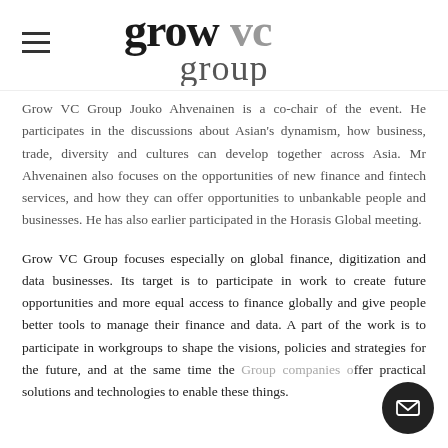[Figure (logo): Grow VC Group logo with hamburger menu icon on the left]
Grow VC Group Jouko Ahvenainen is a co-chair of the event. He participates in the discussions about Asian's dynamism, how business, trade, diversity and cultures can develop together across Asia. Mr Ahvenainen also focuses on the opportunities of new finance and fintech services, and how they can offer opportunities to unbankable people and businesses. He has also earlier participated in the Horasis Global meeting.
Grow VC Group focuses especially on global finance, digitization and data businesses. Its target is to participate in work to create future opportunities and more equal access to finance globally and give people better tools to manage their finance and data. A part of the work is to participate in workgroups to shape the visions, policies and strategies for the future, and at the same time the Group companies offer practical solutions and technologies to enable these things.